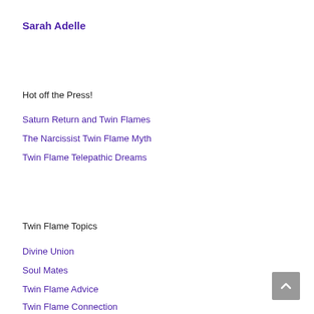Sarah Adelle
Hot off the Press!
Saturn Return and Twin Flames
The Narcissist Twin Flame Myth
Twin Flame Telepathic Dreams
Twin Flame Topics
Divine Union
Soul Mates
Twin Flame Advice
Twin Flame Connection